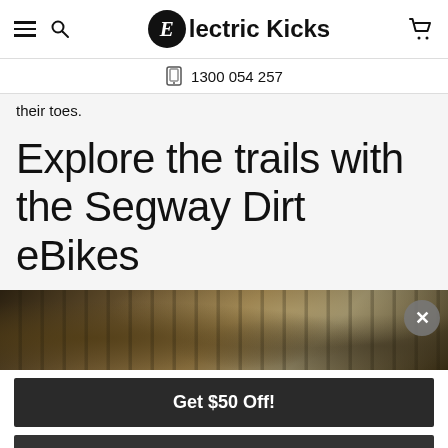Electric Kicks — 1300 054 257
their toes.
Explore the trails with the Segway Dirt eBikes
[Figure (photo): Outdoor trail scene with a person riding a Segway Dirt eBike through a forest, with a close button (X) in the top right corner of the image strip.]
Get $50 Off!
ACTIVATE DISCOUNT